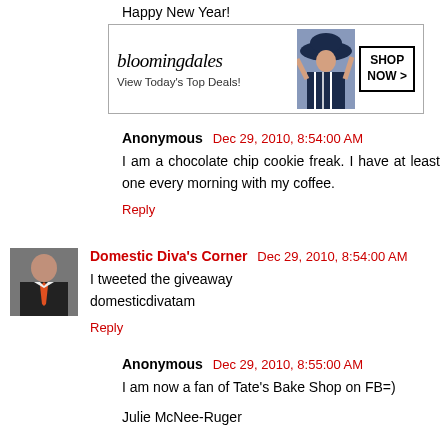Happy New Year!
[Figure (other): Bloomingdale's advertisement banner: logo 'bloomingdales', tagline 'View Today's Top Deals!', image of woman in hat, button 'SHOP NOW >']
Anonymous  Dec 29, 2010, 8:54:00 AM
I am a chocolate chip cookie freak. I have at least one every morning with my coffee.
Reply
[Figure (photo): Avatar photo of Domestic Diva's Corner commenter, person in dark jacket with orange tie]
Domestic Diva's Corner  Dec 29, 2010, 8:54:00 AM
I tweeted the giveaway domesticdivatam
Reply
Anonymous  Dec 29, 2010, 8:55:00 AM
I am now a fan of Tate's Bake Shop on FB=)
Julie McNee-Ruger